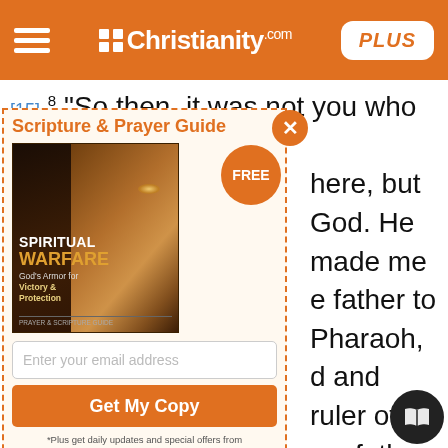Christianity.com PLUS
[15] 8 "So then, it was not you who sent me here, but God. He made me father to Pharaoh, lord of his entire household and ruler of all Egypt. Now hurry back to my father and say to him, 'This is what your son Joseph says: God has made me lord of all Egypt. Come down to me; don't delay. You shall live in the region of Goshen and be near me-you, your children and grandchildren, your flocks and herds, and all you have. I will provide for you there, because five years of famine are still to come. Otherwise you and your household and all who belong to you will become destitute.'
[Figure (screenshot): Advertisement overlay for Scripture & Prayer Guide - Spiritual Warfare book, with email input and Get My Copy button]
*Plus get daily updates and special offers from Christianity.com! Terms